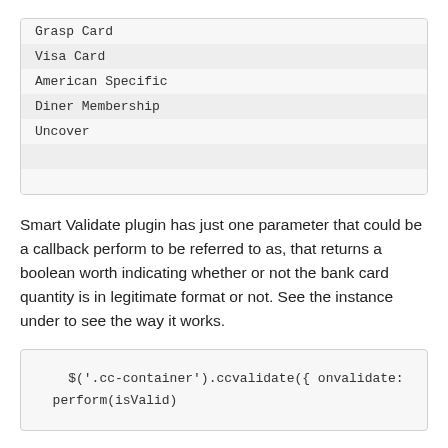| Grasp Card |
| Visa Card |
| American Specific |
| Diner Membership |
| Uncover |
|  |
|  |
Smart Validate plugin has just one parameter that could be a callback perform to be referred to as, that returns a boolean worth indicating whether or not the bank card quantity is in legitimate format or not. See the instance under to see the way it works.
$('.cc-container').ccvalidate({ onvalidate:
perform(isValid)